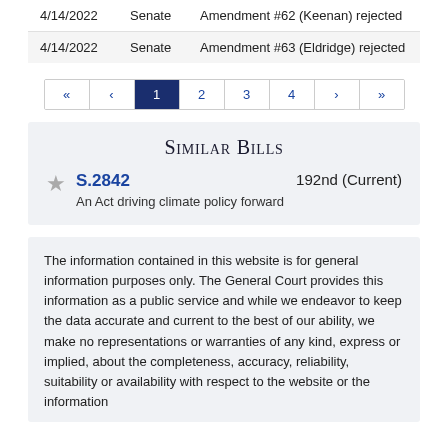| Date | Chamber | Action |
| --- | --- | --- |
| 4/14/2022 | Senate | Amendment #62 (Keenan) rejected |
| 4/14/2022 | Senate | Amendment #63 (Eldridge) rejected |
Pagination: « ‹ 1 2 3 4 › »
Similar Bills
S.2842  192nd (Current)
An Act driving climate policy forward
The information contained in this website is for general information purposes only. The General Court provides this information as a public service and while we endeavor to keep the data accurate and current to the best of our ability, we make no representations or warranties of any kind, express or implied, about the completeness, accuracy, reliability, suitability or availability with respect to the website or the information